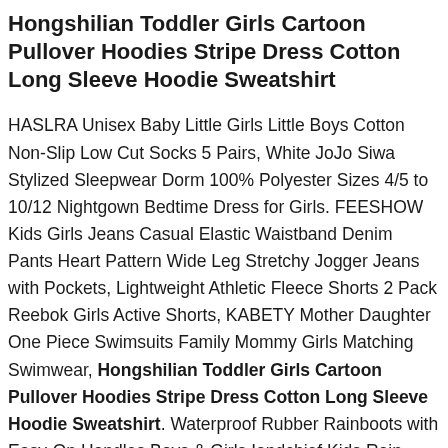Hongshilian Toddler Girls Cartoon Pullover Hoodies Stripe Dress Cotton Long Sleeve Hoodie Sweatshirt
HASLRA Unisex Baby Little Girls Little Boys Cotton Non-Slip Low Cut Socks 5 Pairs, White JoJo Siwa Stylized Sleepwear Dorm 100% Polyester Sizes 4/5 to 10/12 Nightgown Bedtime Dress for Girls. FEESHOW Kids Girls Jeans Casual Elastic Waistband Denim Pants Heart Pattern Wide Leg Stretchy Jogger Jeans with Pockets, Lightweight Athletic Fleece Shorts 2 Pack Reebok Girls Active Shorts, KABETY Mother Daughter One Piece Swimsuits Family Mommy Girls Matching Swimwear, Hongshilian Toddler Girls Cartoon Pullover Hoodies Stripe Dress Cotton Long Sleeve Hoodie Sweatshirt. Waterproof Rubber Rainboots with Easy-On Handles Boys & Girls Iandchief Kids Rain Boots, Meeyou Little